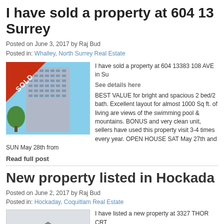I have sold a property at 604 13 Surrey
Posted on June 3, 2017 by Raj Bud
Posted in: Whalley, North Surrey Real Estate
[Figure (photo): Photo of a high-rise condo building with a SOLD banner overlay]
I have sold a property at 604 13383 108 AVE in Su
See details here
BEST VALUE for bright and spacious 2 bed/2 bath. Excellent layout for almost 1000 Sq ft. of living are views of the swimming pool & mountains. BONUS and very clean unit, sellers have used this property visit 3-4 times every year. OPEN HOUSE SAT May 27th and SUN May 28th from
Read full post
New property listed in Hockada
Posted on June 2, 2017 by Raj Bud
Posted in: Hockaday, Coquitlam Real Estate
[Figure (photo): Photo of a house property listing]
I have listed a new property at 3327 THOR CRT
See details here